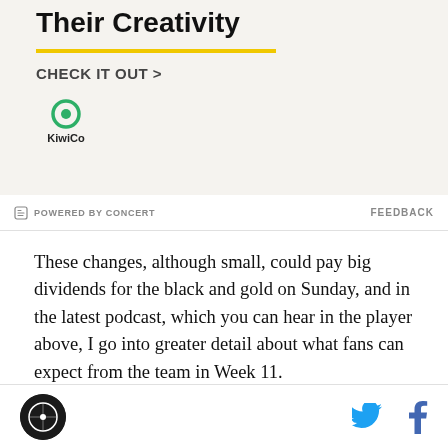[Figure (illustration): KiwiCo advertisement banner with bold title 'Their Creativity', a yellow horizontal line, 'CHECK IT OUT >' call to action text, and the KiwiCo logo with green circle icon and brand name.]
POWERED BY CONCERT   FEEDBACK
These changes, although small, could pay big dividends for the black and gold on Sunday, and in the latest podcast, which you can hear in the player above, I go into greater detail about what fans can expect from the team in Week 11.
Want more content like this? Check out the Pittsburgh
[Figure (logo): Site footer with circular logo on the left and Twitter and Facebook social media icons on the right.]